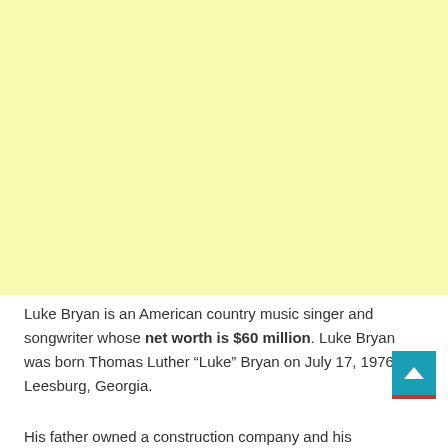[Figure (other): Large light yellow advertisement or image placeholder block occupying the top two-thirds of the page]
Luke Bryan is an American country music singer and songwriter whose net worth is $60 million. Luke Bryan was born Thomas Luther “Luke” Bryan on July 17, 1976, in Leesburg, Georgia.
His father owned a construction company and his...